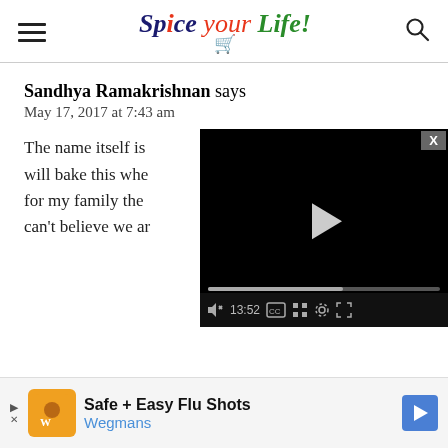Spice your Life!
Sandhya Ramakrishnan says
May 17, 2017 at 7:43 am
The name itself is [obscured by video] will bake this whe[n] for my family the[m] can't believe we ar[e]
[Figure (screenshot): Embedded video player overlay showing a black video window with play button, progress bar at 13:52, CC, grid, settings, and fullscreen controls.]
Reply
Safe + Easy Flu Shots Wegmans